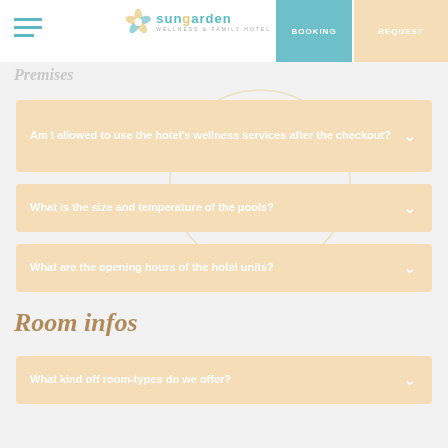Sungarden Wellness & Family Hotel — BOOKING | REQUEST
Premises
Am I allowed to use the hotel's wellness services after the checkout?
What is the size and temperature of the pools?
What are the opening hours of the hotel units?
Room infos
What kind off room-types do we offer?